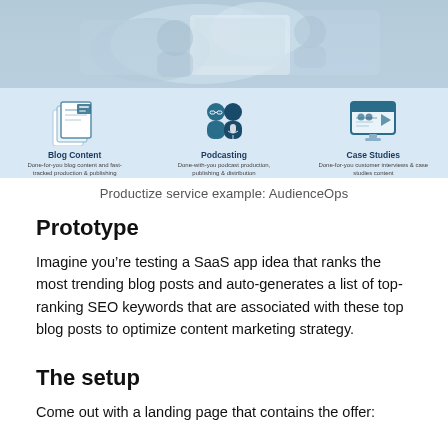[Figure (infographic): Productize service example showing AudienceOps with three icons: Blog Content (done-for-you blog content and fast-tracked production & publishing), Podcasting (done-with-you podcast production, publishing & distribution), and Case Studies (done-for-you customer interviews & case studies content). Background shows a blurred photo of people working at a computer.]
Productize service example: AudienceOps
Prototype
Imagine you’re testing a SaaS app idea that ranks the most trending blog posts and auto-generates a list of top-ranking SEO keywords that are associated with these top blog posts to optimize content marketing strategy.
The setup
Come out with a landing page that contains the offer: